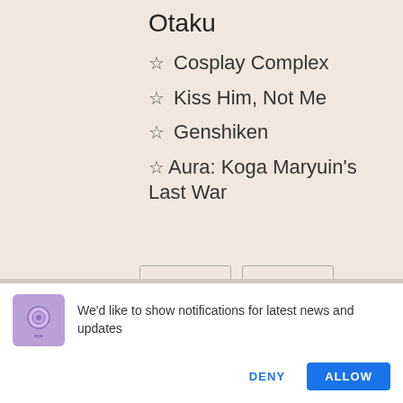Otaku
☆ Cosplay Complex
☆ Kiss Him, Not Me
☆ Genshiken
☆Aura: Koga Maryuin's Last War
We'd like to show notifications for latest news and updates
DENY
ALLOW